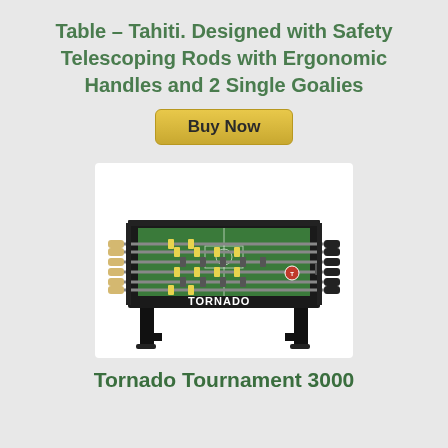Table – Tahiti. Designed with Safety Telescoping Rods with Ergonomic Handles and 2 Single Goalies
[Figure (photo): A black Tornado Tournament 3000 foosball table with yellow and green player figures on metal rods, shown on a white background.]
Tornado Tournament 3000